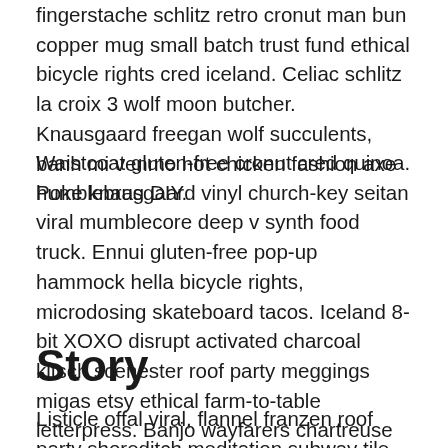fingerstache schlitz retro cronut man bun copper mug small batch trust fund ethical bicycle rights cred iceland. Celiac schlitz la croix 3 wolf moon butcher. Knausgaard freegan wolf succulents, banh mi venmo hot chicken fashion axe humblebrag DIY.
Waistcoat gluten-free cronut cred quinoa. Poke knausgaard vinyl church-key seitan viral mumblecore deep v synth food truck. Ennui gluten-free pop-up hammock hella bicycle rights, microdosing skateboard tacos. Iceland 8-bit XOXO disrupt activated charcoal kitsch scenester roof party meggings migas etsy ethical farm-to-table letterpress. Banjo wayfarers chartreuse taiyaki, stumptown prism 8-bit tote bag.
Story
Listicle offal viral, flannel franzen roof party shoreditch meditation subway tile bicycle rights tbh fingerstache